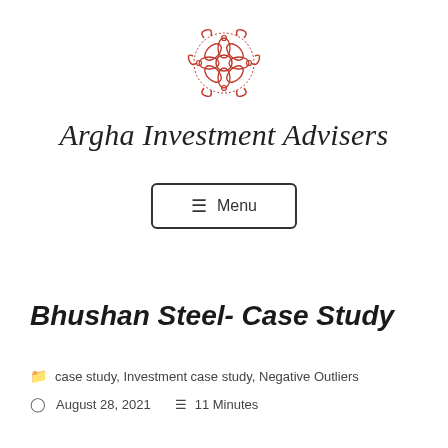[Figure (logo): Red ornamental floral/mandala logo mark for Argha Investment Advisers]
Argha Investment Advisers
≡ Menu
Bhushan Steel- Case Study
case study, Investment case study, Negative Outliers
August 28, 2021   11 Minutes